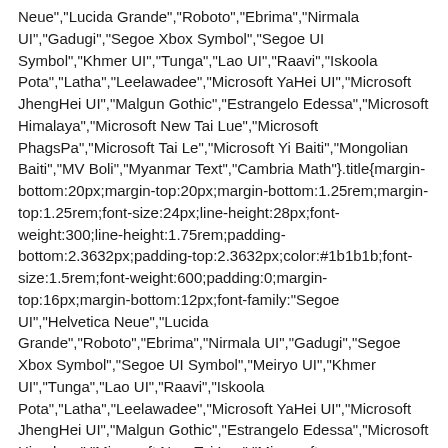Neue","Lucida Grande","Roboto","Ebrima","Nirmala UI","Gadugi","Segoe Xbox Symbol","Segoe UI Symbol","Khmer UI","Tunga","Lao UI","Raavi","Iskoola Pota","Latha","Leelawadee","Microsoft YaHei UI","Microsoft JhengHei UI","Malgun Gothic","Estrangelo Edessa","Microsoft Himalaya","Microsoft New Tai Lue","Microsoft PhagsPa","Microsoft Tai Le","Microsoft Yi Baiti","Mongolian Baiti","MV Boli","Myanmar Text","Cambria Math"}.title{margin-bottom:20px;margin-top:20px;margin-bottom:1.25rem;margin-top:1.25rem;font-size:24px;line-height:28px;font-weight:300;line-height:1.75rem;padding-bottom:2.3632px;padding-top:2.3632px;color:#1b1b1b;font-size:1.5rem;font-weight:600;padding:0;margin-top:16px;margin-bottom:12px;font-family:"Segoe UI","Helvetica Neue","Lucida Grande","Roboto","Ebrima","Nirmala UI","Gadugi","Segoe Xbox Symbol","Segoe UI Symbol","Meiryo UI","Khmer UI","Tunga","Lao UI","Raavi","Iskoola Pota","Latha","Leelawadee","Microsoft YaHei UI","Microsoft JhengHei UI","Malgun Gothic","Estrangelo Edessa","Microsoft Himalaya","Microsoft New Tai Lue","Microsoft PhagsPa","Microsoft Tai Le","Microsoft Yi Baiti","Mongolian Baiti","MV Boli","Myanmar Text","Cambria Math"}.app-